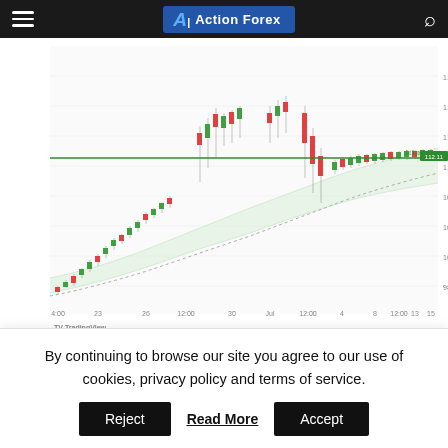Action Forex
[Figure (continuous-plot): Candlestick price chart showing Dow Jones Industrial Average on H4 timeframe with Ichimoku cloud overlay, a horizontal green support line labeled '2nd Support', and price levels on the right y-axis ranging from approximately 90.00 to 119.00. X-axis shows dates. TradingView watermark visible at bottom left.]
Dow Jones Industrial Average:
On the H4, with moving below our ichimoku cloud, we have a bearish bias that price will drop to our 1st support at 30537 in line with the horizontal swing low support and the 61.8% Fibonacci projection from our 1st resistance at 32589 where the pullback resistance is. Alternatively, price may break structure and head for our 2nd resistance
By continuing to browse our site you agree to our use of cookies, privacy policy and terms of service.
Reject
Read More
Accept